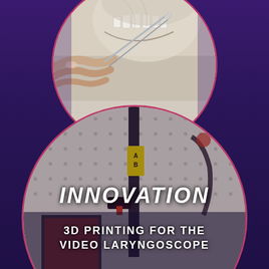[Figure (photo): Circular cropped photo at top center showing a hand holding surgical tweezers/forceps near a skull model, with a dark purple background surrounding the circle. Pink/red circular border.]
[Figure (photo): Large circular cropped stylized/illustrated photo of a 3D printer with a pegboard background, orange/red printed parts visible, and a laptop in the lower right. Dark purple background surrounds the circle. Pink/red circular border. Text overlaid reading INNOVATION and 3D PRINTING FOR THE VIDEO LARYNGOSCOPE.]
INNOVATION
3D PRINTING FOR THE VIDEO LARYNGOSCOPE